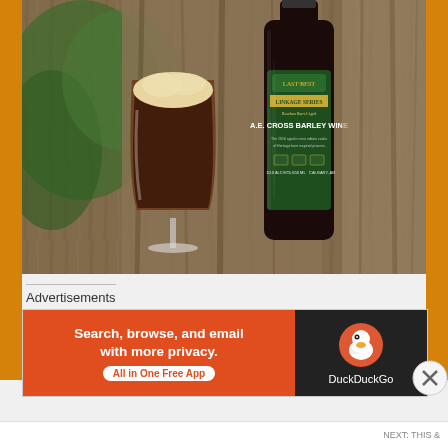[Figure (photo): Photo of a dark beer in a tulip glass with frothy cream head, beside a dark bottle labeled 'Last Best Brewing – Linkage Series – A.E. Cross Barley Wine', set on a wooden surface with green plants in background.]
Advertisements
[Figure (screenshot): DuckDuckGo advertisement banner: orange left side reads 'Search, browse, and email with more privacy. All in One Free App', dark right side shows DuckDuckGo duck logo and 'DuckDuckGo' text.]